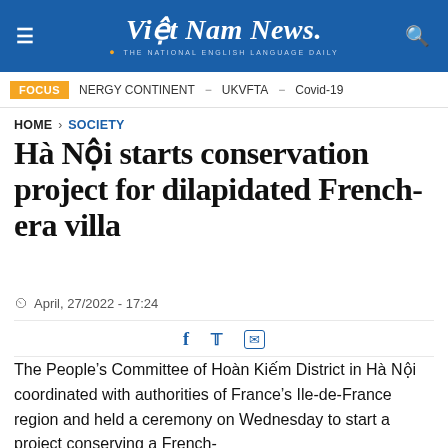Việt Nam News. THE NATIONAL ENGLISH LANGUAGE DAILY
FOCUS   NERGY CONTINENT – UKVFTA – Covid-19
HOME > SOCIETY
Hà Nội starts conservation project for dilapidated French-era villa
April, 27/2022 - 17:24
The People's Committee of Hoàn Kiếm District in Hà Nội coordinated with authorities of France's Ile-de-France region and held a ceremony on Wednesday to start a project conserving a French-